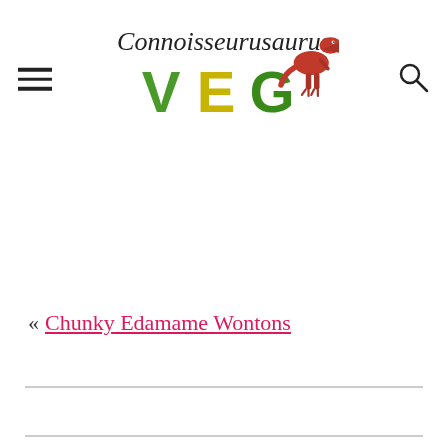[Figure (logo): Connoisseurusaurus VEG logo with stylized script text and a red T-Rex dinosaur illustration, with 'VEG' in large letters colored green and yellow]
« Chunky Edamame Wontons